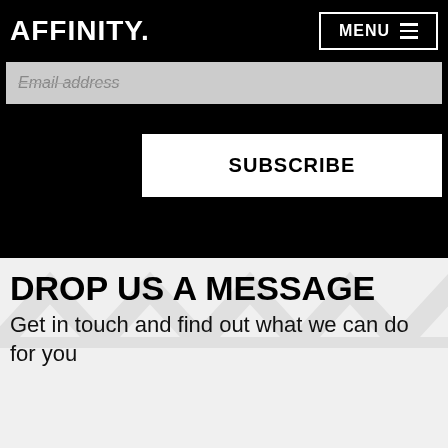AFFINITY
MENU
Email address
SUBSCRIBE
DROP US A MESSAGE
Get in touch and find out what we can do for you